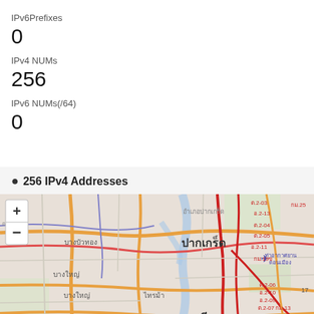IPv6Prefixes
0
IPv4 NUMs
256
IPv6 NUMs(/64)
0
256 IPv4 Addresses
[Figure (map): Street map showing the Nonthaburi/Pak Kret area north of Bangkok, Thailand. Shows Thai place names including ปากเกร็ด (Pak Kret), บางบัวทอง (Bang Bua Thong), บางใหญ่ (Bang Yai), ไทรม้า (Sai Ma), นนทบุรี (Nonthaburi). Road network with orange, red and blue routes visible. District labels visible such as ต.2-03, ต.2-04, ต.2-05, ต.2-06, ต.2-07, ต.2-08, ต.2-09, ต.2-10, ต.2-11, กม.25, กม.19ข, กม.13. Airport symbol visible in upper right area (ท่าอากาศยานดอนเมือง). Map has zoom + and - controls.]